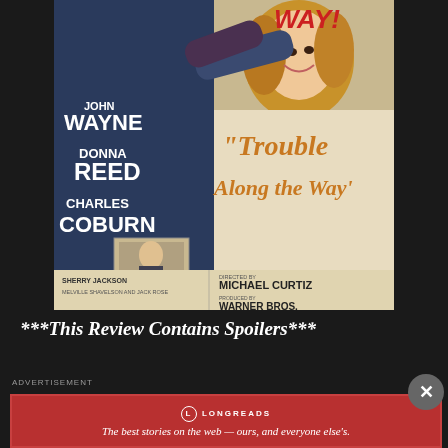[Figure (illustration): Movie poster for 'Trouble Along the Way' featuring John Wayne, Donna Reed, Charles Coburn, and Sherry Jackson. Directed by Michael Curtiz, produced by Warner Bros. Shows a woman being held by a man in the upper portion, with bold title text and cast names.]
***This Review Contains Spoilers***
ADVERTISEMENT
[Figure (logo): Longreads advertisement banner with red background. Says 'The best stories on the web — ours, and everyone else's.']